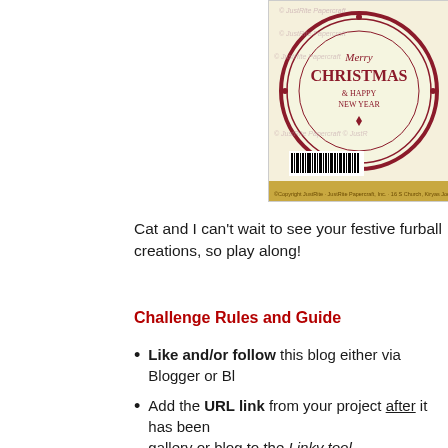[Figure (photo): Merry Christmas & Happy New Year stamp/product packaging image with decorative circular design in red and cream colors, watermark text visible]
Cat and I can't wait to see your festive furball creations, so play along!
Challenge Rules and Guide
Like and/or follow this blog either via Blogger or Bl...
Add the URL link from your project after it has been gallery or blog to the Linky tool.
Please mention and link back to this post/blog to le... challenge!
I'd appreciate cards made especially for this ch...